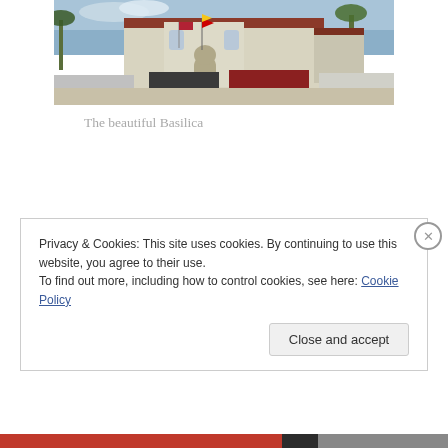[Figure (photo): Photograph of a church building (Basilica) with a cream/beige facade, red roof, flags in front including an American flag and yellow papal flag, palm trees, and parked cars in the foreground.]
The beautiful Basilica
Privacy & Cookies: This site uses cookies. By continuing to use this website, you agree to their use.
To find out more, including how to control cookies, see here: Cookie Policy